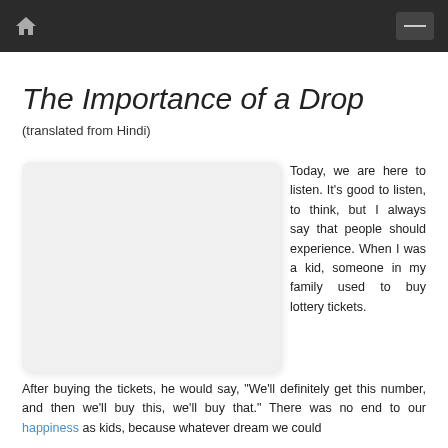home icon | menu button
The Importance of a Drop
(translated from Hindi)
[Figure (photo): A light gray placeholder image box with rounded corners and shadow, occupying the left side of the content area.]
Today, we are here to listen. It's good to listen, to think, but I always say that people should experience. When I was a kid, someone in my family used to buy lottery tickets. After buying the tickets, he would say, "We'll definitely get this number, and then we'll buy this, we'll buy that." There was no end to our happiness as kids, because whatever dream we could